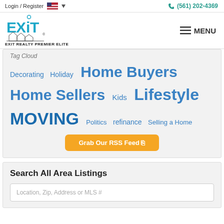Login / Register  (561) 202-4369
[Figure (logo): EXIT Realty Premier Elite logo with teal EXIT text and house graphic]
MENU
Tag Cloud
Decorating  Holiday  Home Buyers  Home Sellers  Kids  Lifestyle  MOVING  Politics  refinance  Selling a Home
Grab Our RSS Feed
Search All Area Listings
Location, Zip, Address or MLS #